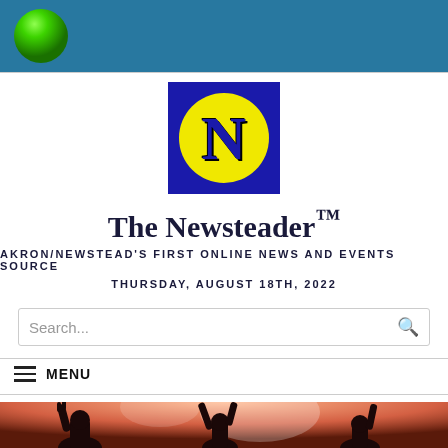[Figure (logo): Blue header bar with green 3D sphere/ball on left]
[Figure (logo): The Newsteader logo: blue square with yellow circle containing blue N letter]
The Newsteader™
AKRON/NEWSTEAD'S FIRST ONLINE NEWS AND EVENTS SOURCE
THURSDAY, AUGUST 18TH, 2022
Search...
≡  MENU
[Figure (photo): Concert photo showing silhouettes of crowd with raised hands against warm red/orange stage lighting]